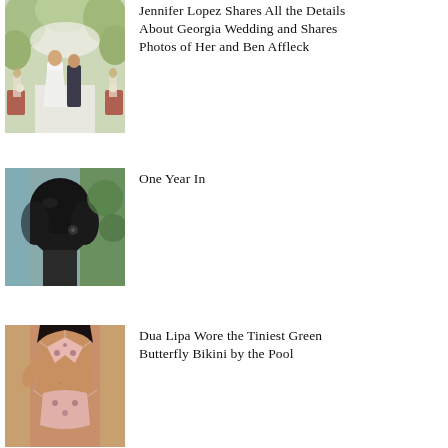[Figure (photo): Jennifer Lopez and Ben Affleck walking together at outdoor wedding venue with white floral decorations]
Jennifer Lopez Shares All the Details About Georgia Wedding and Shares Photos of Her and Ben Affleck
[Figure (photo): Back of a person's head with black hair against blurred green and blue background]
One Year In
[Figure (photo): Dua Lipa wearing a small floral/butterfly print bikini posing by a pool]
Dua Lipa Wore the Tiniest Green Butterfly Bikini by the Pool